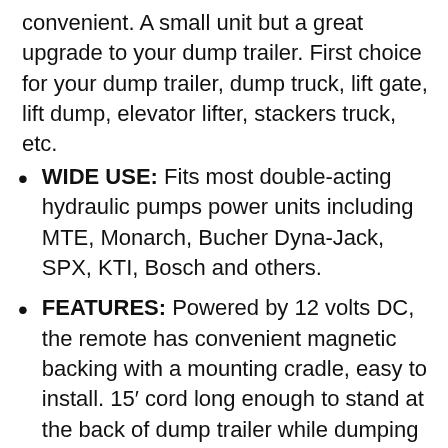convenient. A small unit but a great upgrade to your dump trailer. First choice for your dump trailer, dump truck, lift gate, lift dump, elevator lifter, stackers truck, etc.
WIDE USE: Fits most double-acting hydraulic pumps power units including MTE, Monarch, Bucher Dyna-Jack, SPX, KTI, Bosch and others.
FEATURES: Powered by 12 volts DC, the remote has convenient magnetic backing with a mounting cradle, easy to install. 15′ cord long enough to stand at the back of dump trailer while dumping the load.
SUPERIOR QUALITY: This dump...